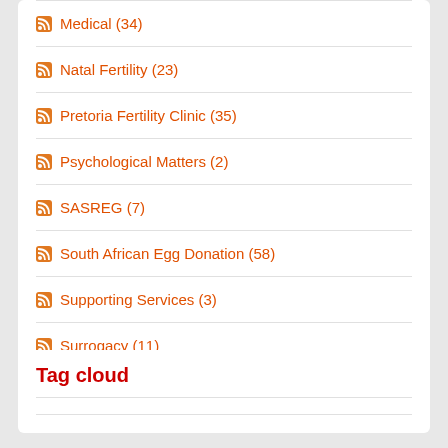Medical (34)
Natal Fertility (23)
Pretoria Fertility Clinic (35)
Psychological Matters (2)
SASREG (7)
South African Egg Donation (58)
Supporting Services (3)
Surrogacy (11)
True Stories (91)
Tag cloud